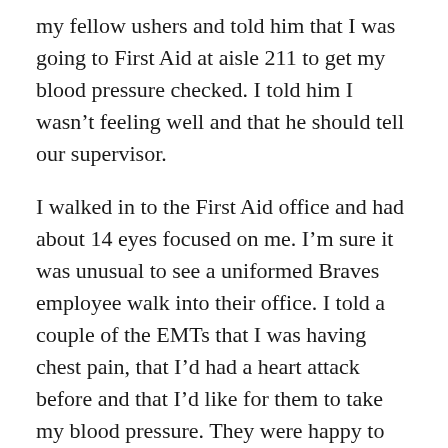my fellow ushers and told him that I was going to First Aid at aisle 211 to get my blood pressure checked. I told him I wasn't feeling well and that he should tell our supervisor.
I walked in to the First Aid office and had about 14 eyes focused on me. I'm sure it was unusual to see a uniformed Braves employee walk into their office. I told a couple of the EMTs that I was having chest pain, that I'd had a heart attack before and that I'd like for them to take my blood pressure. They were happy to oblige and began asking me a few questions about the location and severity of my pain. My blood pressure was 170 over 105, which was extremely high for me since I took meds that generally kept my pressure down to 115 over 75. The EMT asked me to lay down on their examining table so that they could hook up the leads for an EKG. Before loading me into the ambulance, they wanted